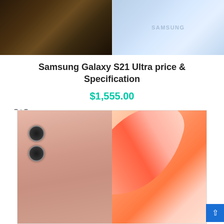[Figure (photo): Two Samsung Galaxy S21 Ultra product images side by side: left showing dark back of phone, right showing light blue back of phone with Samsung logo]
Samsung Galaxy S21 Ultra price & Specification
$1,555.00
[Figure (illustration): Scale/balance icon for product comparison]
[Figure (photo): Samsung Galaxy S21 in pink/gold color showing back with dual camera bump on left, and right side showing orange/pink floral or petal detail]